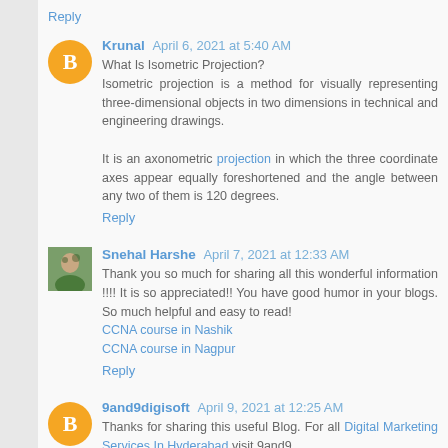Reply
Krunal  April 6, 2021 at 5:40 AM
What Is Isometric Projection?
Isometric projection is a method for visually representing three-dimensional objects in two dimensions in technical and engineering drawings.

It is an axonometric projection in which the three coordinate axes appear equally foreshortened and the angle between any two of them is 120 degrees.
Reply
Snehal Harshe  April 7, 2021 at 12:33 AM
Thank you so much for sharing all this wonderful information !!!! It is so appreciated!! You have good humor in your blogs. So much helpful and easy to read!
CCNA course in Nashik
CCNA course in Nagpur
Reply
9and9digisoft  April 9, 2021 at 12:25 AM
Thanks for sharing this useful Blog. For all Digital Marketing Services In Hyderabad visit 9and9.